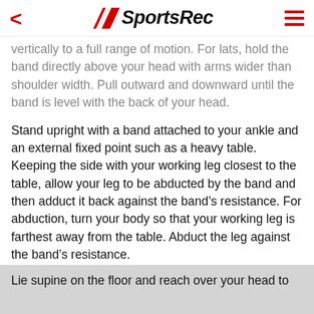SportsRec
vertically to a full range of motion. For lats, hold the band directly above your head with arms wider than shoulder width. Pull outward and downward until the band is level with the back of your head.
Stand upright with a band attached to your ankle and an external fixed point such as a heavy table. Keeping the side with your working leg closest to the table, allow your leg to be abducted by the band and then adduct it back against the band’s resistance. For abduction, turn your body so that your working leg is farthest away from the table. Abduct the leg against the band’s resistance.
Lie supine on the floor and reach over your head to